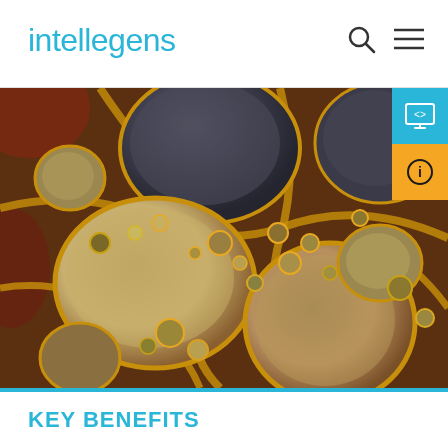intellegens
[Figure (photo): Macro close-up photograph of oil bubbles or cellular structures with dark brown, golden yellow, and dark gray rounded polygonal shapes separated by golden-orange borders, resembling a foam or biological cell structure viewed under microscope.]
KEY BENEFITS